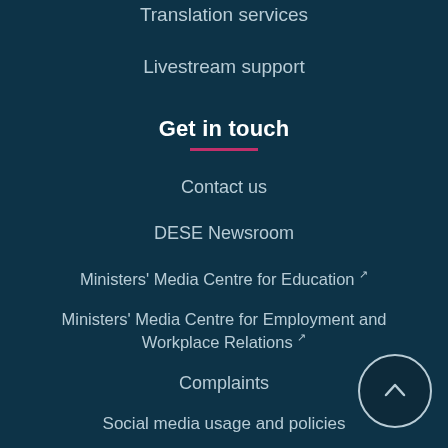Translation services
Livestream support
Get in touch
Contact us
DESE Newsroom
Ministers' Media Centre for Education ↗
Ministers' Media Centre for Employment and Workplace Relations ↗
Complaints
Social media usage and policies